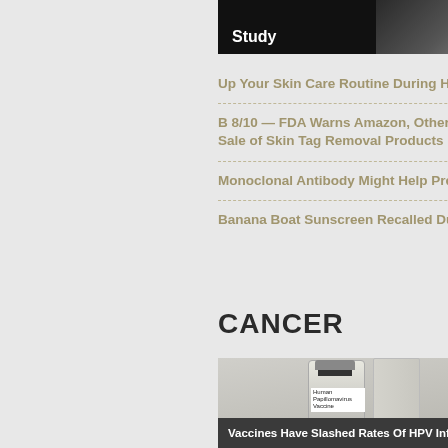[Figure (photo): Dark image with white text 'Study' at bottom left — appears to be a cropped photo related to a study]
Up Your Skin Care Routine During Hot Summer Months
B 8/10 — FDA Warns Amazon, Other Vendors About Sale of Skin Tag Removal Products
Monoclonal Antibody Might Help Prevent Malaria
Banana Boat Sunscreen Recalled Due to Benzene
CANCER
[Figure (photo): Photo of a Human Papillomavirus Vaccine vial]
Vaccines Have Slashed Rates Of HPV Infection In